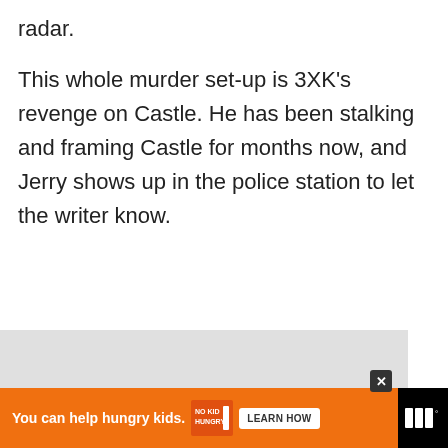radar.
This whole murder set-up is 3XK’s revenge on Castle. He has been stalking and framing Castle for months now, and Jerry shows up in the police station to let the writer know.
[Figure (screenshot): Gray placeholder image area with social action buttons (heart/like button showing count of 1, share button) on the right side, and a 'What's Next' widget showing 'Castle': 7 Clues...']
[Figure (infographic): Orange advertisement bar reading 'You can help hungry kids.' with No Kid Hungry logo, Learn How button, and dark right panel with TV network logo.]